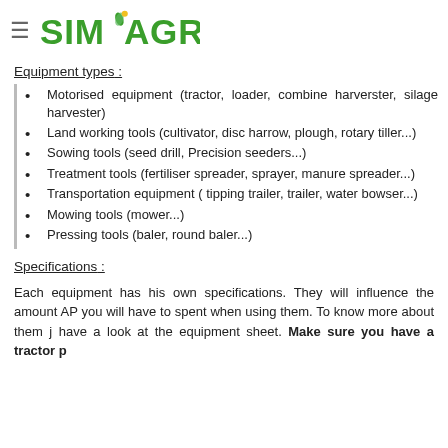≡ SIMAGRI
Equipment types :
Motorised equipment (tractor, loader, combine harverster, silage harvester)
Land working tools (cultivator, disc harrow, plough, rotary tiller...)
Sowing tools (seed drill, Precision seeders...)
Treatment tools (fertiliser spreader, sprayer, manure spreader...)
Transportation equipment ( tipping trailer, trailer, water bowser...)
Mowing tools (mower...)
Pressing tools (baler, round baler...)
Specifications :
Each equipment has his own specifications. They will influence the amount AP you will have to spent when using them. To know more about them just have a look at the equipment sheet. Make sure you have a tractor p...